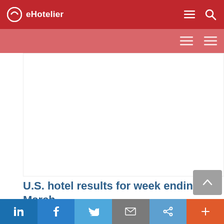eHotelier
[Figure (screenshot): Blank white article image placeholder]
U.S. hotel results for week ending 19 March
25 March 2022
LinkedIn | Facebook | Twitter | Email | Link | More